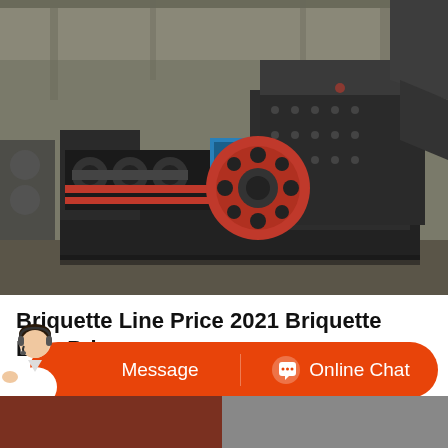[Figure (photo): Industrial briquette machine/crusher with large red flywheel and black metal frame, photographed in a factory warehouse setting.]
Briquette Line Price 2021 Briquette Line Price
Briquette Line Price - Select 2021 high quality Briquette Line Price products in best price from certified Chinese Briquette Production Line manufacturers, Charcoal Briquette Line suppliers, wholesalers and factory on Made-in-China.com
[Figure (illustration): Customer service representative avatar with headset, used for chat interface button bar with 'Message' and 'Online Chat' options on orange background.]